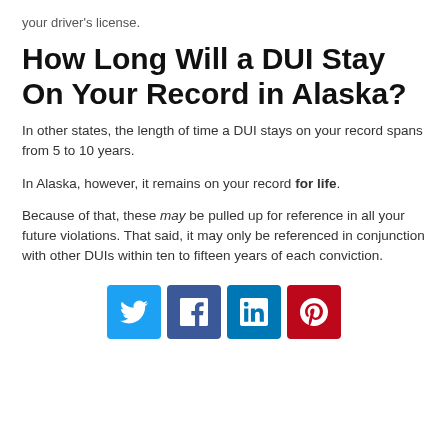your driver's license.
How Long Will a DUI Stay On Your Record in Alaska?
In other states, the length of time a DUI stays on your record spans from 5 to 10 years.
In Alaska, however, it remains on your record for life.
Because of that, these may be pulled up for reference in all your future violations. That said, it may only be referenced in conjunction with other DUIs within ten to fifteen years of each conviction.
[Figure (infographic): Social media share buttons: Twitter, Facebook, LinkedIn, Pinterest]